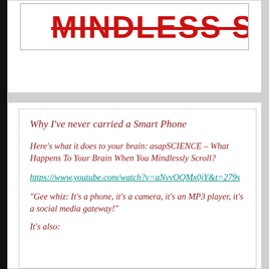[Figure (logo): Partial red bold strikethrough text reading MINDLESS S on white background with gray border]
Why I've never carried a Smart Phone
Here's what it does to your brain: asapSCIENCE – What Happens To Your Brain When You Mindlessly Scroll?
https://www.youtube.com/watch?v=aNvvOQMx0jY&t=279s
“Gee whiz: It’s a phone, it’s a camera, it’s an MP3 player, it’s a social media gateway!”
It’s also: